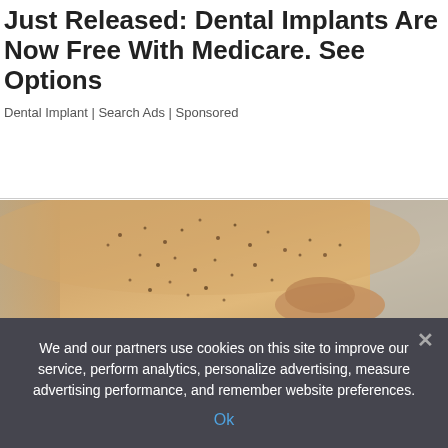Just Released: Dental Implants Are Now Free With Medicare. See Options
Dental Implant | Search Ads | Sponsored
[Figure (photo): Close-up photo of a person's arm being pinched, showing skin with small dark spots/bumps, with a finger pressing into the skin]
We and our partners use cookies on this site to improve our service, perform analytics, personalize advertising, measure advertising performance, and remember website preferences.
Ok